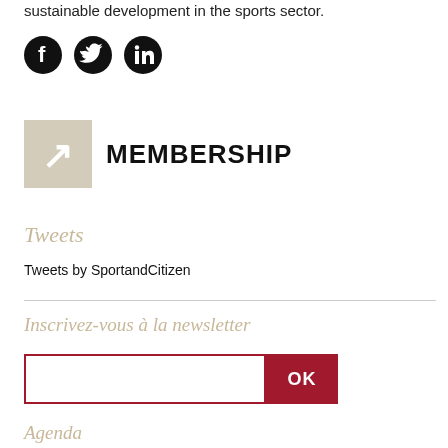sustainable development in the sports sector.
[Figure (other): Three social media icons: Facebook, Twitter, LinkedIn — black circular icons]
MEMBERSHIP
Tweets
Tweets by SportandCitizen
Inscrivez-vous à la newsletter
OK
Agenda